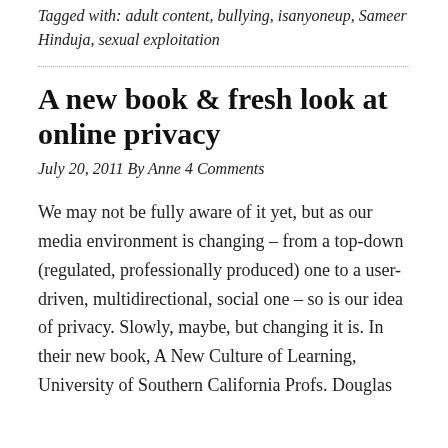Tagged with: adult content, bullying, isanyoneup, Sameer Hinduja, sexual exploitation
A new book & fresh look at online privacy
July 20, 2011 By Anne 4 Comments
We may not be fully aware of it yet, but as our media environment is changing – from a top-down (regulated, professionally produced) one to a user-driven, multidirectional, social one – so is our idea of privacy. Slowly, maybe, but changing it is. In their new book, A New Culture of Learning, University of Southern California Profs. Douglas